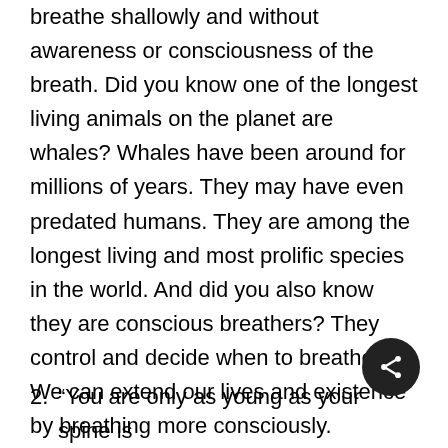breathe shallowly and without awareness or consciousness of the breath. Did you know one of the longest living animals on the planet are whales? Whales have been around for millions of years. They may have even predated humans. They are among the longest living and most prolific species in the world. And did you also know they are conscious breathers? They control and decide when to breathe. We can extend our lives and existence by breathing more consciously. Breathing keeps us focused and aware, these are the keys to successful living.
2. “You are only as young as your spine is